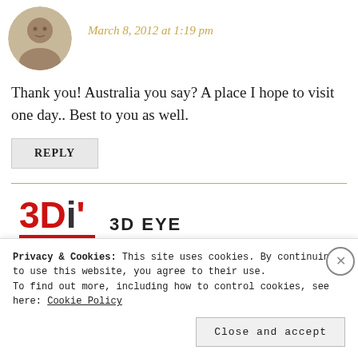[Figure (photo): Circular avatar photo of a person, cropped to circle]
March 8, 2012 at 1:19 pm
Thank you! Australia you say? A place I hope to visit one day.. Best to you as well.
REPLY
[Figure (logo): 3D Eye logo with red 3Di text and horizontal red lines]
3D EYE
Privacy & Cookies: This site uses cookies. By continuing to use this website, you agree to their use.
To find out more, including how to control cookies, see here: Cookie Policy
Close and accept